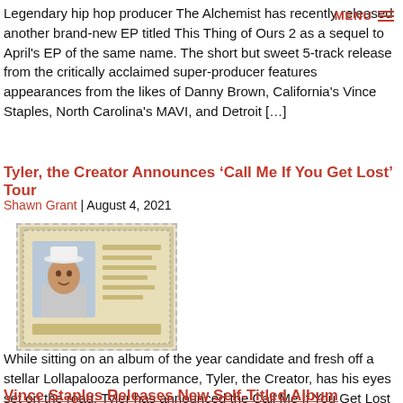Legendary hip hop producer The Alchemist has recently released another brand-new EP titled This Thing of Ours 2 as a sequel to April's EP of the same name. The short but sweet 5-track release from the critically acclaimed super-producer features appearances from the likes of Danny Brown, California's Vince Staples, North Carolina's MAVI, and Detroit [...]
Tyler, the Creator Announces 'Call Me If You Get Lost' Tour
Shawn Grant | August 4, 2021
[Figure (photo): ID card style photo of Tyler the Creator wearing a white hat, set against a beige/cream background with dotted border]
While sitting on an album of the year candidate and fresh off a stellar Lollapalooza performance, Tyler, the Creator, has his eyes set on the road. Tyler has announced the Call Me If You Get Lost tour, set to bring in Vince Staples, Kali Uchis, and Teezo Touchdown. Visit streaming.thesource.com for more information The new [...]
Vince Staples Releases New Self-Titled Album